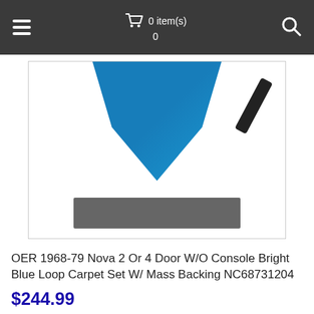0 item(s) 0
[Figure (photo): Product photo of a bright blue loop carpet set with mass backing, partially shown with a triangular/diamond shape in teal/blue color on white background, with a gray overlay bar at the bottom of the image]
OER 1968-79 Nova 2 Or 4 Door W/O Console Bright Blue Loop Carpet Set W/ Mass Backing NC68731204
$244.99
SKU: NC68731204
Availability: In stock
Handling Time: 30 Days
Qty 1 Add to Cart